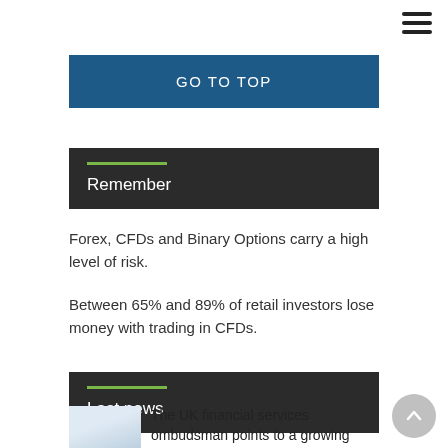menu icon (hamburger)
GO TO TOP
Remember
Forex, CFDs and Binary Options carry a high level of risk.
Between 65% and 89% of retail investors lose money with trading in CFDs.
Last news
[Figure (photo): Thumbnail image of coins/money for news article about UK financial services ombudsman]
The UK financial services ombudsman points to a growing number of frauds
1 July 2022